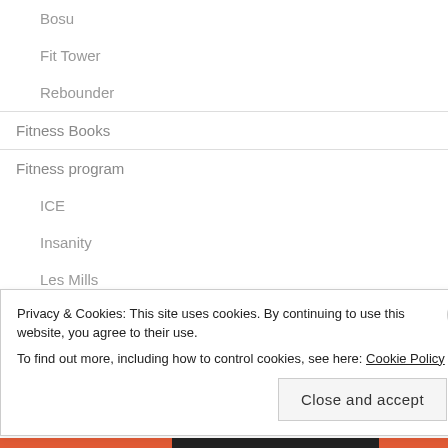Bosu
Fit Tower
Rebounder
Fitness Books
Fitness program
ICE
Insanity
Les Mills
LITE
Privacy & Cookies: This site uses cookies. By continuing to use this website, you agree to their use.
To find out more, including how to control cookies, see here: Cookie Policy